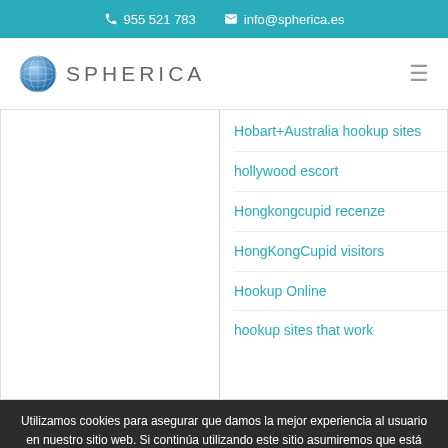☎ 955 521 783  ✉ info@spherica.es
[Figure (logo): Spherica logo with globe icon and text SPHERICA]
Hobart+Australia hookup sites
hollywood escort
Hongkongcupid recenze
HongKongCupid visitors
Hookup Online
hookup sites that work
Utilizamos cookies para asegurar que damos la mejor experiencia al usuario en nuestro sitio web. Si continúa utilizando este sitio asumiremos que está de acuerdo.
[Figure (infographic): Social share buttons: Facebook, Twitter, Email, WhatsApp]